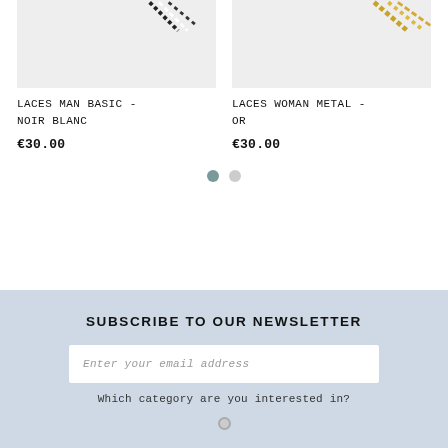[Figure (photo): Product image of LACES MAN BASIC - NOIR BLANC, showing black and white laces on light gray background]
LACES MAN BASIC - NOIR BLANC
€30.00
[Figure (photo): Product image of LACES WOMAN METAL - OR, showing gold metallic laces on light gray background]
LACES WOMAN METAL - OR
€30.00
SUBSCRIBE TO OUR NEWSLETTER
Enter your email address
Which category are you interested in?